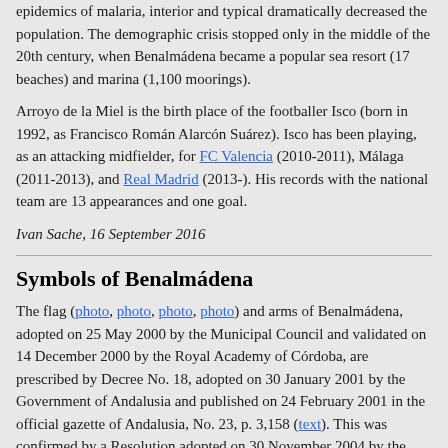epidemics of malaria, interior and typical dramatically decreased the population. The demographic crisis stopped only in the middle of the 20th century, when Benalmádena became a popular sea resort (17 beaches) and marina (1,100 moorings).
Arroyo de la Miel is the birth place of the footballer Isco (born in 1992, as Francisco Román Alarcón Suárez). Isco has been playing, as an attacking midfielder, for FC Valencia (2010-2011), Málaga (2011-2013), and Real Madrid (2013-). His records with the national team are 13 appearances and one goal.
Ivan Sache, 16 September 2016
Symbols of Benalmádena
The flag (photo, photo, photo, photo) and arms of Benalmádena, adopted on 25 May 2000 by the Municipal Council and validated on 14 December 2000 by the Royal Academy of Córdoba, are prescribed by Decree No. 18, adopted on 30 January 2001 by the Government of Andalusia and published on 24 February 2001 in the official gazette of Andalusia, No. 23, p. 3,158 (text). This was confirmed by a Resolution adopted on 30 November 2004 by the Directorate General of the Local Administration and published on 20 December 2004 in the official gazette of Andalusia, No. 246,